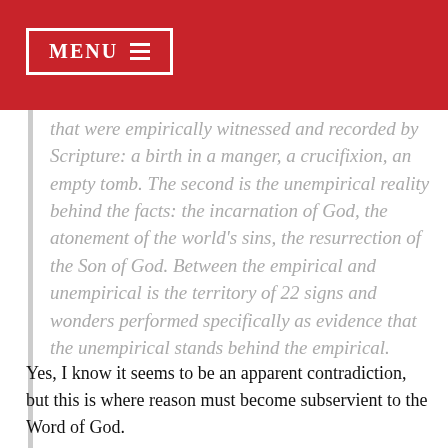MENU ≡
that were empirically witnessed and recorded by Scripture: a birth in a manger, a crucifixion, an empty tomb. The second is the unempirical reality behind the facts: the incarnation of God, the atonement of the world's sins, the resurrection of the Son of God. Between the empirical and unempirical is the territory of 22 signs and wonders performed specifically as evidence that the unempirical stands behind the empirical.
Yes, I know it seems to be an apparent contradiction, but this is where reason must become subservient to the Word of God.